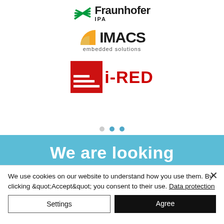[Figure (logo): Fraunhofer IPA logo with green striped graphic and bold black text reading 'Fraunhofer' with 'IPA' beneath]
[Figure (logo): IMACS embedded solutions logo with yellow/orange quarter-circle graphic and bold black text 'IMACS' with subtitle 'embedded solutions']
[Figure (logo): i-RED logo with red square containing white horizontal lines and bold red text 'i-RED']
[Figure (infographic): Slideshow dot indicators: three dots, middle and right dots filled blue, left dot grey]
[Figure (infographic): Light blue banner with white bold text reading 'We are looking']
We use cookies on our website to understand how you use them. By clicking &quot;Accept&quot; you consent to their use. Data protection
Settings
Agree